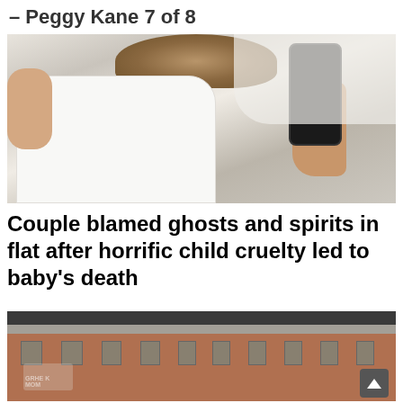– Peggy Kane 7 of 8
[Figure (photo): A person in a white off-shoulder top taking a mirror selfie with a black smartphone. The face/head is cropped out. The image shows shoulders, arms, and torso in a bright room.]
Couple blamed ghosts and spirits in flat after horrific child cruelty led to baby's death
[Figure (photo): An exterior photo of a dilapidated brick building with broken windows, a dark roof, graffiti on the walls, and debris on a concrete ledge in front. A scroll-up button (chevron) is visible in the bottom-right corner.]